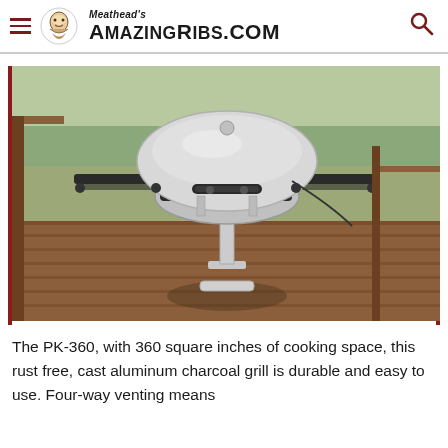Meathead's AmazingRibs.com
[Figure (photo): A PK-360 cast aluminum charcoal grill on a pedestal stand with side shelves, photographed on a wooden deck with trees and a structure visible in the background.]
The PK-360, with 360 square inches of cooking space, this rust free, cast aluminum charcoal grill is durable and easy to use. Four-way venting means